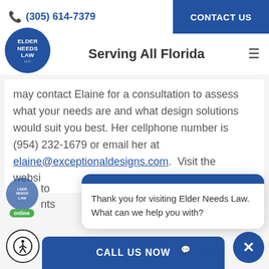(305) 614-7379 | CONTACT US
Serving All Florida
[Figure (logo): Elder Needs Law LLC circular blue logo]
may contact Elaine for a consultation to assess what your needs are and what design solutions would suit you best. Her cellphone number is (954) 232-1679 or email her at elaine@exceptionaldesigns.com.  Visit the websi... to ... nts
Thank you for visiting Elder Needs Law. What can we help you with?
Reply
CALL US NOW